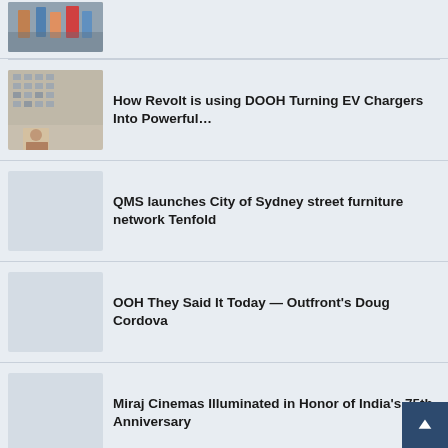[Figure (photo): Thumbnail photo of people on a street, partially visible at top]
[Figure (photo): Thumbnail photo of a building exterior with a person's face visible]
How Revolt is using DOOH Turning EV Chargers Into Powerful…
[Figure (photo): Placeholder thumbnail image]
QMS launches City of Sydney street furniture network Tenfold
[Figure (photo): Placeholder thumbnail image]
OOH They Said It Today — Outfront's Doug Cordova
[Figure (photo): Placeholder thumbnail image]
Miraj Cinemas Illuminated in Honor of India's 75th Anniversary